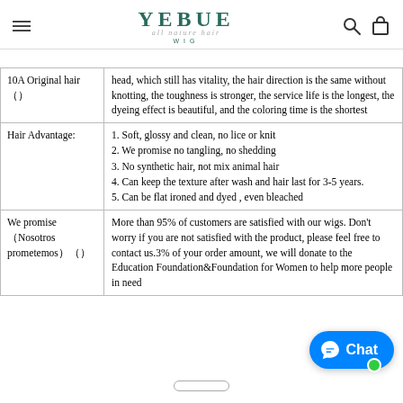YEBUE WIG
| Category | Description |
| --- | --- |
| 10A Original hair（） | head, which still has vitality, the hair direction is the same without knotting, the toughness is stronger, the service life is the longest, the dyeing effect is beautiful, and the coloring time is the shortest |
| Hair Advantage: | 1. Soft, glossy and clean, no lice or knit
2. We promise no tangling, no shedding
3. No synthetic hair, not mix animal hair
4. Can keep the texture after wash and hair last for 3-5 years.
5. Can be flat ironed and dyed , even bleached |
| We promise（Nosotros prometemos）（） | More than 95% of customers are satisfied with our wigs. Don't worry if you are not satisfied with the product, please feel free to contact us.3% of your order amount, we will donate to the Education Foundation&Foundation for Women to help more people in need |